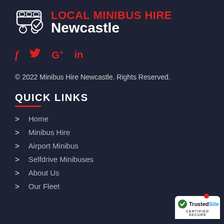[Figure (logo): Local Minibus Hire Newcastle logo with bus icon, red text 'Local Minibus Hire' and white text 'Newcastle']
[Figure (infographic): Social media icons: Facebook (f), Twitter (bird), Google+ (G+), LinkedIn (in) in red]
© 2022 Minibus Hire Newcastle. Rights Reserved.
QUICK LINKS
> Home
> Minibus Hire
> Airport Minibus
> Selfdrive Minibuses
> About Us
> Our Fleet
[Figure (logo): TrustedSite Certified Secure badge in bottom right corner]